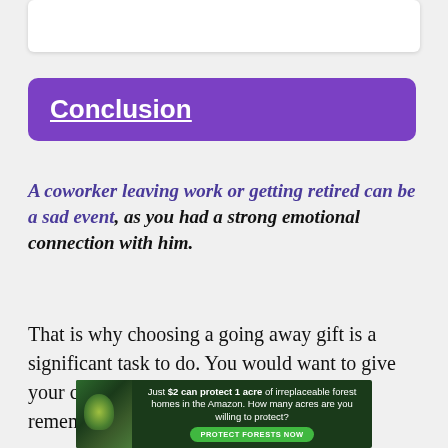Conclusion
A coworker leaving work or getting retired can be a sad event, as you had a strong emotional connection with him.
That is why choosing a going away gift is a significant task to do. You would want to give your coworker something to make them remember you.
[Figure (infographic): Advertisement banner: forest/Amazon protection ad. Text: 'Just $2 can protect 1 acre of irreplaceable forest homes in the Amazon. How many acres are you willing to protect?' with a 'PROTECT FORESTS NOW' button.]